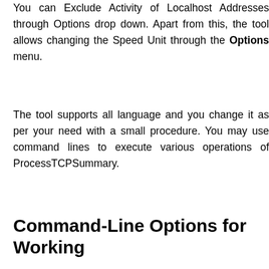You can Exclude Activity of Localhost Addresses through Options drop down. Apart from this, the tool allows changing the Speed Unit through the Options menu.
The tool supports all language and you change it as per your need with a small procedure. You may use command lines to execute various operations of ProcessTCPSummary.
Command-Line Options for Working